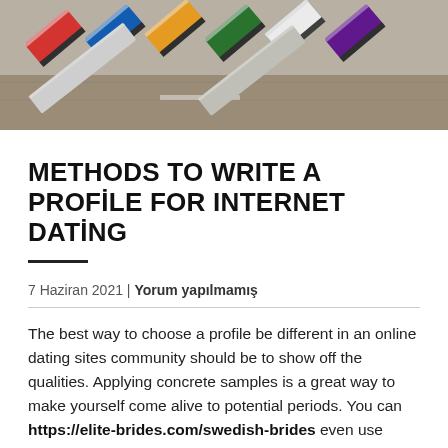[Figure (photo): Aerial view of trucks and trailers parked at a logistics facility, seen from above, colorful truck rooftops arranged diagonally.]
METHODS TO WRITE A PROFILE FOR INTERNET DATING
7 Haziran 2021 | Yorum yapılmamış
The best way to choose a profile be different in an online dating sites community should be to show off the qualities. Applying concrete samples is a great way to make yourself come alive to potential periods. You can https://elite-brides.com/swedish-brides even use quotations from legendary authors and tastemakers to showcase the sophistication. Persons will be more drawn to you if you have even more to offer these people than just your profile picture. To make the profile as captivating as it can be, you can